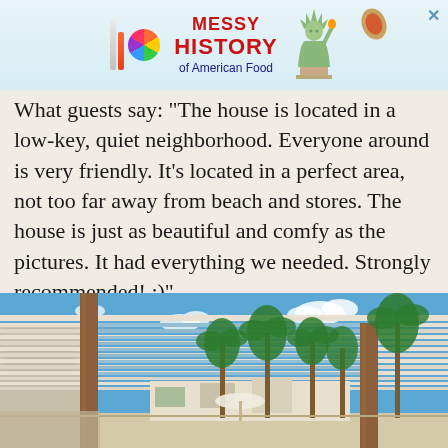[Figure (infographic): Advertisement banner for 'Messy History of American Food' with colorful logo featuring vertical bars and a circle, Statue of Liberty illustration, and a hot dog image on a light blue gradient background.]
What guests say: "The house is located in a low-key, quiet neighborhood. Everyone around is very friendly. It's located in a perfect area, not too far away from beach and stores. The house is just as beautiful and comfy as the pictures. It had everything we needed. Strongly recommended! :)"
STARTING AT $295 PER NIGHT
[Figure (photo): Outdoor patio or pergola area with white louvered roof, palm trees in the background against a blue sky with clouds. Warm desert setting, likely Palm Springs or similar location.]